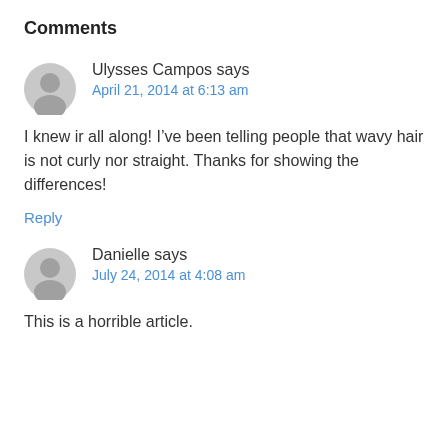Comments
Ulysses Campos says
April 21, 2014 at 6:13 am
I knew ir all along! I’ve been telling people that wavy hair is not curly nor straight. Thanks for showing the differences!
Reply
Danielle says
July 24, 2014 at 4:08 am
This is a horrible article.